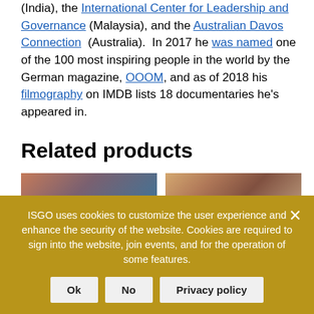(India), the International Center for Leadership and Governance (Malaysia), and the Australian Davos Connection (Australia). In 2017 he was named one of the 100 most inspiring people in the world by the German magazine, OOOM, and as of 2018 his filmography on IMDB lists 18 documentaries he's appeared in.
Related products
[Figure (photo): Photo of an older person with hand raised near face, blurred background]
[Figure (photo): Photo of a man with glasses and dark hair, light background]
ISGO uses cookies to customize the user experience and enhance the security of the website. Cookies are required to sign into the website, join events, and for the operation of some features.